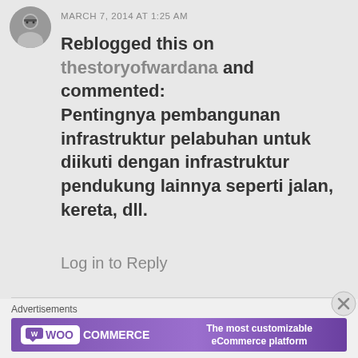[Figure (photo): Circular avatar photo of a person wearing glasses, facing slightly to the side]
MARCH 7, 2014 AT 1:25 AM
Reblogged this on thestoryofwardana and commented: Pentingnya pembangunan infrastruktur pelabuhan untuk diikuti dengan infrastruktur pendukung lainnya seperti jalan, kereta, dll.
Log in to Reply
Advertisements
[Figure (screenshot): WooCommerce advertisement banner with purple background showing WooCommerce logo and text 'The most customizable eCommerce platform']